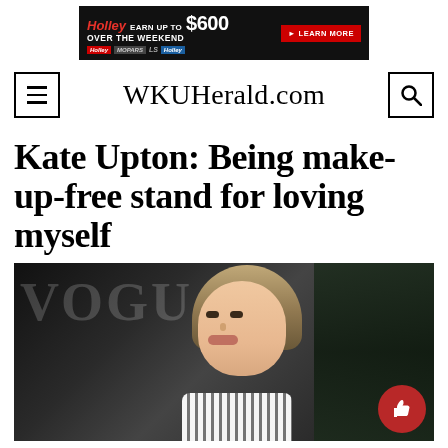[Figure (other): Advertisement banner for Holley: 'EARN UP TO $600 OVER THE WEEKEND' with product images and a LEARN MORE button]
WKUHerald.com
Kate Upton: Being make-up-free stand for loving myself
[Figure (photo): Photo of Kate Upton at a Vogue event, smiling, with blonde hair, wearing a striped top. A red thumbs-up like button is visible in the bottom right corner.]